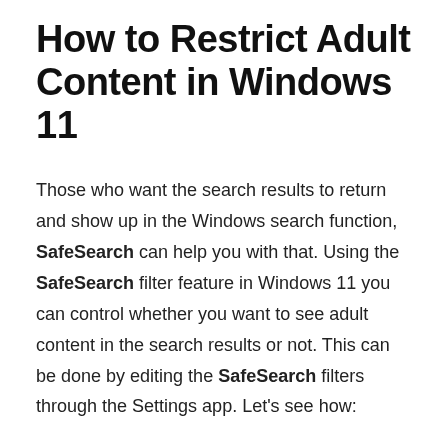How to Restrict Adult Content in Windows 11
Those who want the search results to return and show up in the Windows search function, SafeSearch can help you with that. Using the SafeSearch filter feature in Windows 11 you can control whether you want to see adult content in the search results or not. This can be done by editing the SafeSearch filters through the Settings app. Let's see how: